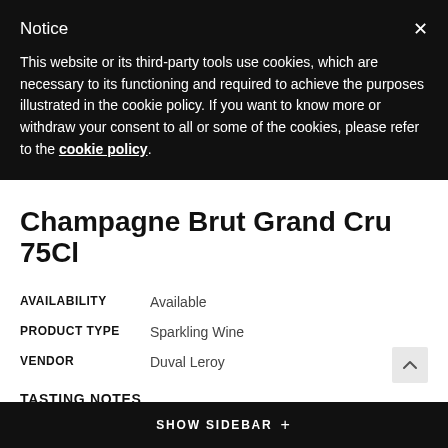Notice
This website or its third-party tools use cookies, which are necessary to its functioning and required to achieve the purposes illustrated in the cookie policy. If you want to know more or withdraw your consent to all or some of the cookies, please refer to the cookie policy.
Champagne Brut Grand Cru 75Cl
| AVAILABILITY | Available |
| PRODUCT TYPE | Sparkling Wine |
| VENDOR | Duval Leroy |
TASTING NOTES
A bright yellow colour. At first the nose revels notes of citrus and fresh bread, this biscuit character then gives way to aromas of flowers and yellow fruits (hints of apricot, peach and quince). On the palate a bewitching flavour of ripe hazelnuts envelopes honeysuckle this is quickly followed by the delicate notes of crystallised mandarin and orange peel.
SHOW SIDEBAR +